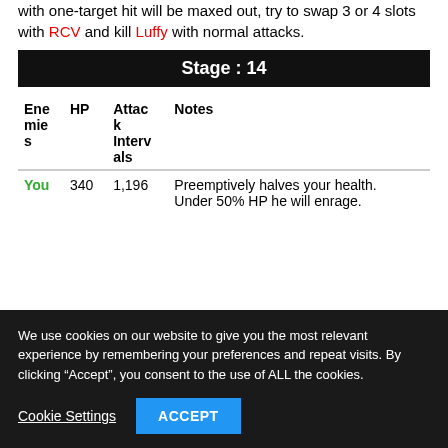with one-target hit will be maxed out, try to swap 3 or 4 slots with RCV and kill Luffy with normal attacks.
Stage : 14
| Enemies | HP | Attack Intervals | Notes |
| --- | --- | --- | --- |
| You | 340 | 1,196 | Preemptively halves your health.
Under 50% HP he will enrage. |
We use cookies on our website to give you the most relevant experience by remembering your preferences and repeat visits. By clicking “Accept”, you consent to the use of ALL the cookies.